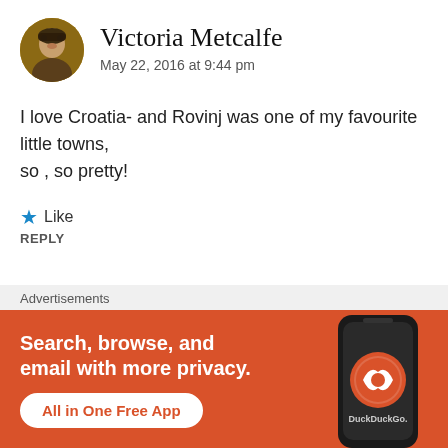Victoria Metcalfe
May 22, 2016 at 9:44 pm
I love Croatia- and Rovinj was one of my favourite little towns, so , so pretty!
Like
REPLY
Advertisements
[Figure (screenshot): DuckDuckGo advertisement banner with orange background, showing phone graphic and text: Search, browse, and email with more privacy. All in One Free App. DuckDuckGo.]